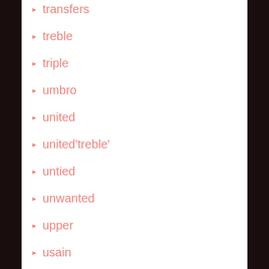transfers
treble
triple
umbro
united
united'treble'
untied
unwanted
upper
usain
very
vintage
wayne
ways
west